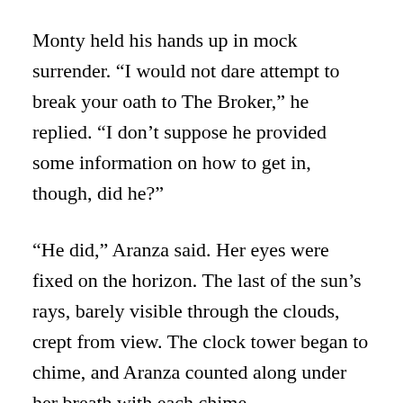Monty held his hands up in mock surrender. “I would not dare attempt to break your oath to The Broker,” he replied. “I don’t suppose he provided some information on how to get in, though, did he?”
“He did,” Aranza said. Her eyes were fixed on the horizon. The last of the sun’s rays, barely visible through the clouds, crept from view. The clock tower began to chime, and Aranza counted along under her breath with each chime.
The bell sounded for a fifth time. Aranza grabbed Monty by the arm and pulled him toward the wall…